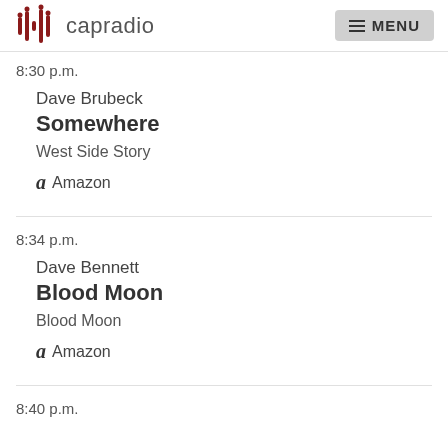capradio MENU
8:30 p.m.
Dave Brubeck
Somewhere
West Side Story
Amazon
8:34 p.m.
Dave Bennett
Blood Moon
Blood Moon
Amazon
8:40 p.m.